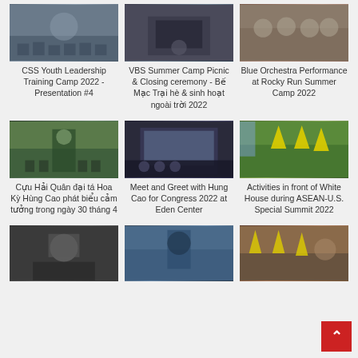[Figure (photo): Group of people seated in a large room, event/training session]
CSS Youth Leadership Training Camp 2022 - Presentation #4
[Figure (photo): Person at a grill or cooking station outdoors]
VBS Summer Camp Picnic & Closing ceremony - Bế Mạc Trại hè & sinh hoạt ngoài trời 2022
[Figure (photo): Group of people in colorful outfits, summer camp performance]
Blue Orchestra Performance at Rocky Run Summer Camp 2022
[Figure (photo): Speaker at outdoor podium with crowd and colorful decorations]
Cựu Hải Quân đại tá Hoa Kỳ Hùng Cao phát biểu cảm tưởng trong ngày 30 tháng 4
[Figure (photo): Indoor meeting with projector screen, people seated]
Meet and Greet with Hung Cao for Congress 2022 at Eden Center
[Figure (photo): Outdoor gathering with yellow Vietnamese flags and protest signs]
Activities in front of White House during ASEAN-U.S. Special Summit 2022
[Figure (photo): People at an indoor event, woman in foreground]
[Figure (photo): Person in naval uniform outdoors]
[Figure (photo): Outdoor festival with colorful decorations and crowd]